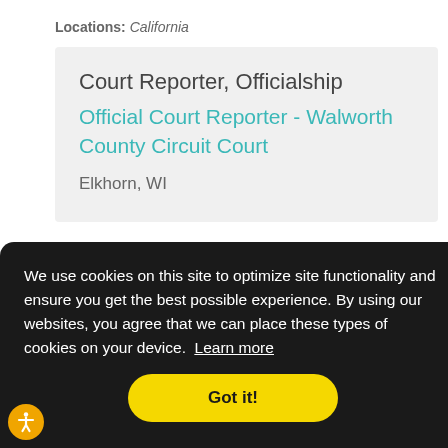Locations: California
Court Reporter, Officialship
Official Court Reporter - Walworth County Circuit Court
Elkhorn, WI
We use cookies on this site to optimize site functionality and ensure you get the best possible experience. By using our websites, you agree that we can place these types of cookies on your device. Learn more
Got it!